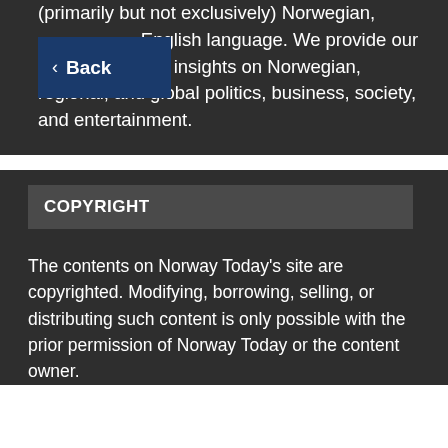(primarily but not exclusively) Norwegian, English language. We provide our daily insights on Norwegian, regional, and global politics, business, society, and entertainment.
◀ Back
COPYRIGHT
The contents on Norway Today's site are copyrighted. Modifying, borrowing, selling, or distributing such content is only possible with the prior permission of Norway Today or the content owner.